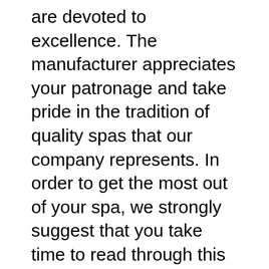are devoted to excellence. The manufacturer appreciates your patronage and take pride in the tradition of quality spas that our company represents. In order to get the most out of your spa, we strongly suggest that you take time to read through this manual before you hook up and operate your spa. Coast Spa Manuals: Coleman Spa Manuals: Diamante Spa Manuals: Dolphin Spa Manuals: Dynasty Spa Manuals: Emerald Spa Manuals: Great Lakes Spa Manuals: Hawkeye Spa Manuals: Hot Spring Spa Manuals: Icon Spa Manuals: Image Spas Manuals: Jacuzzi Spa Manuals: Keys Backyard Spa Manuals: La Spa Manuals: Leisure Bay Spa...